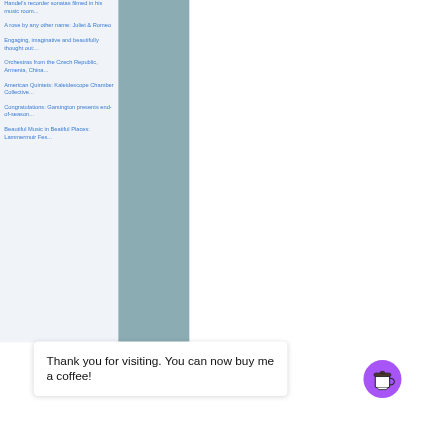Handel's recorder sonatas filmed in his music room...
A rose by any other name: Juliet & Romeo
Engaging, imaginative and beautifully thought out:...
Orchestras from the Czech Republic, Armenia, China...
American Quintets: Kaleidescope Chamber Collective...
Congratulations: Garsington presents end-of-season...
Beautiful Music in Beatiful Places: Lammermuir Fes...
Thank you for visiting. You can now buy me a coffee!
WNO's Arralleirio |